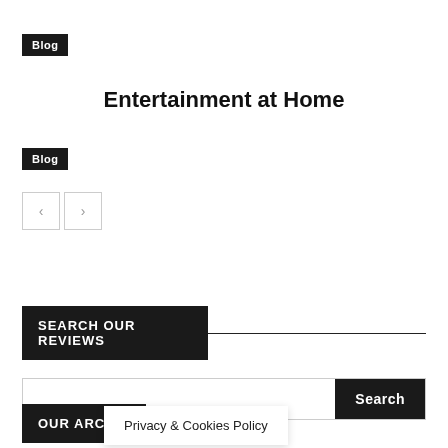Blog
Entertainment at Home
Blog
[Figure (other): Navigation previous/next buttons (left and right arrow buttons)]
SEARCH OUR REVIEWS
Search
OUR ARCH
Privacy & Cookies Policy